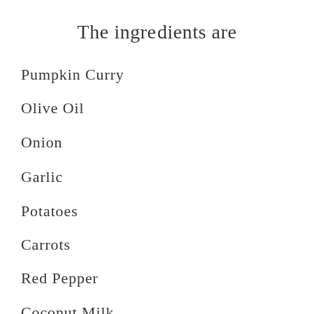The ingredients are
Pumpkin Curry
Olive Oil
Onion
Garlic
Potatoes
Carrots
Red Pepper
Coconut Milk